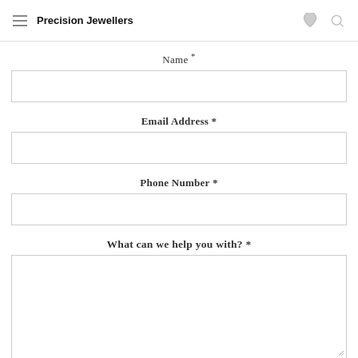Precision Jewellers
Name *
Email Address *
Phone Number *
What can we help you with? *